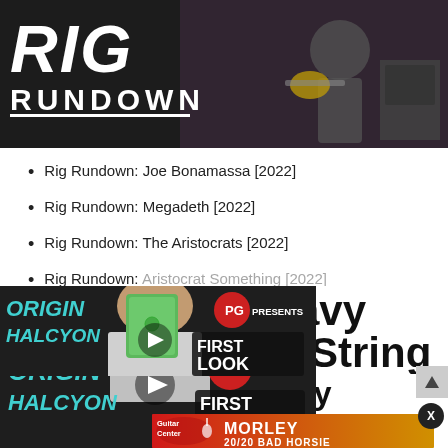[Figure (photo): Rig Rundown banner image with guitarist on stage and bold white text overlay reading RIG RUNDOWN]
Rig Rundown: Joe Bonamassa [2022]
Rig Rundown: Megadeth [2022]
Rig Rundown: The Aristocrats [2022]
[Figure (screenshot): Video thumbnail for First Look segment on Origin Halcyon pedal, showing a man holding a green pedal, with ORIGIN HALCYON text on left, PG Presents logo and FIRST LOOK logo overlay, partially obscured]
avy -String
Korn's Head & Munky
PRESS... 0, 2022
[Figure (photo): Guitar Center advertisement banner for Morley 20/20 Bad Horsie product, orange-red gradient background with Guitar Center logo on left and MORLEY 20/20 BAD HORSIE text]